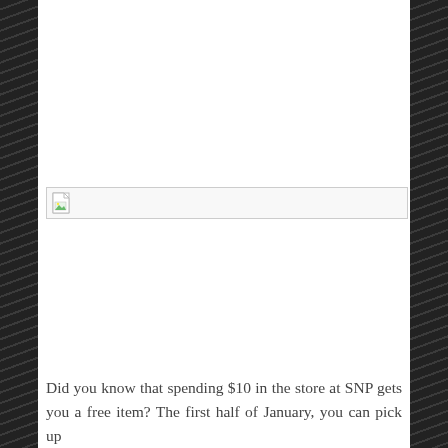[Figure (other): Broken image placeholder icon with a thin horizontal border]
Did you know that spending $10 in the store at SNP gets you a free item? The first half of January, you can pick up